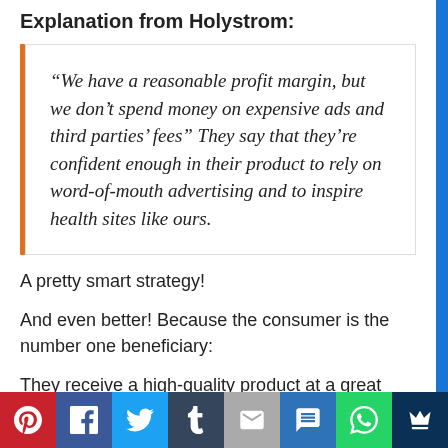Explanation from Holystrom:
“We have a reasonable profit margin, but we don’t spend money on expensive ads and third parties’ fees” They say that they’re confident enough in their product to rely on word-of-mouth advertising and to inspire health sites like ours.
A pretty smart strategy!
And even better! Because the consumer is the number one beneficiary:
They receive a high-quality product at a great
Social share bar: Pinterest, Facebook, Twitter, Tumblr, Email, SMS, WhatsApp, Crown